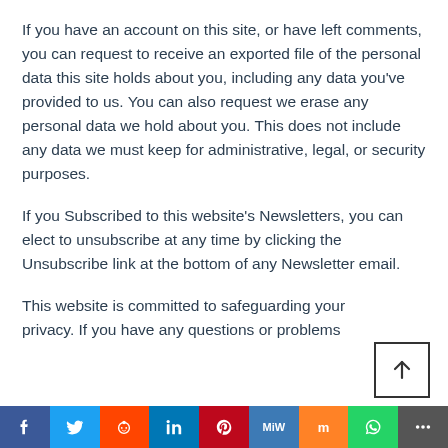If you have an account on this site, or have left comments, you can request to receive an exported file of the personal data this site holds about you, including any data you've provided to us. You can also request we erase any personal data we hold about you. This does not include any data we must keep for administrative, legal, or security purposes.
If you Subscribed to this website's Newsletters, you can elect to unsubscribe at any time by clicking the Unsubscribe link at the bottom of any Newsletter email.
This website is committed to safeguarding your privacy. If you have any questions or problems
[Figure (other): Back to top button with upward arrow icon]
Social share bar: Facebook, Twitter, Reddit, LinkedIn, Pinterest, MeWe, Mix, WhatsApp, More